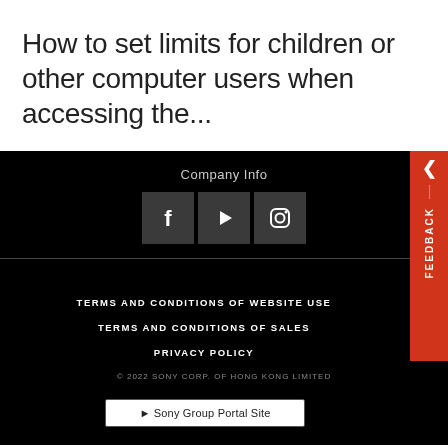How to set limits for children or other computer users when accessing the...
Company Info
[Figure (illustration): Social media icons: Facebook, YouTube, Instagram]
TERMS AND CONDITIONS OF WEBSITE USE
TERMS AND CONDITIONS OF SALES
PRIVACY POLICY
© 2022 SONY CORP. OF HONG KONG LIMITED
► Sony Group Portal Site